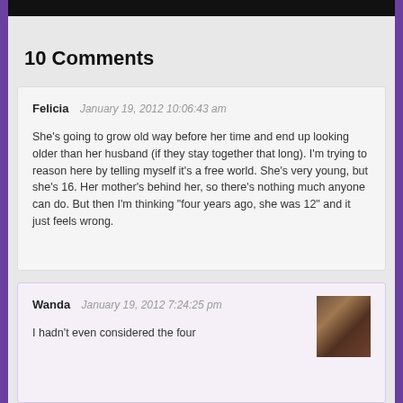10 Comments
Felicia   January 19, 2012 10:06:43 am

She's going to grow old way before her time and end up looking older than her husband (if they stay together that long). I'm trying to reason here by telling myself it's a free world. She's very young, but she's 16. Her mother's behind her, so there's nothing much anyone can do. But then I'm thinking "four years ago, she was 12" and it just feels wrong.
Wanda   January 19, 2012 7:24:25 pm

I hadn't even considered the four